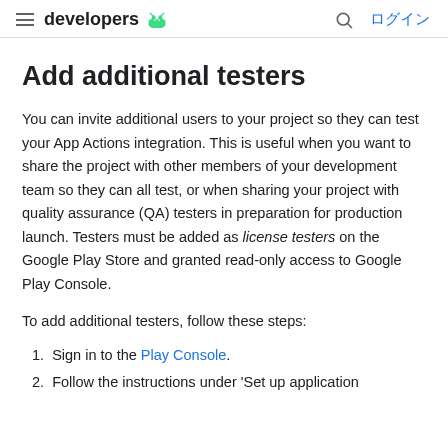developers [Android logo] | Search | ログイン
Add additional testers
You can invite additional users to your project so they can test your App Actions integration. This is useful when you want to share the project with other members of your development team so they can all test, or when sharing your project with quality assurance (QA) testers in preparation for production launch. Testers must be added as license testers on the Google Play Store and granted read-only access to Google Play Console.
To add additional testers, follow these steps:
1. Sign in to the Play Console.
2. Follow the instructions under 'Set up application